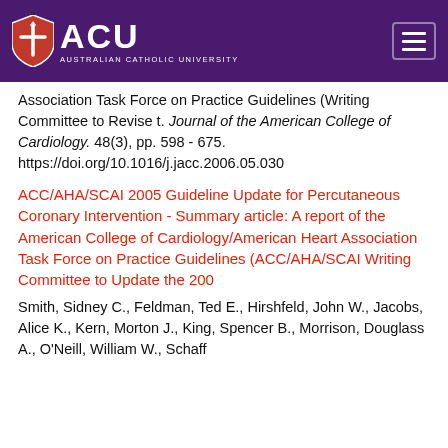[Figure (logo): Australian Catholic University (ACU) logo with purple shield containing cross motif, white ACU letters, and university name text, on dark purple header bar with hamburger menu icon]
Association Task Force on Practice Guidelines (Writing Committee to Revise t. Journal of the American College of Cardiology. 48(3), pp. 598 - 675. https://doi.org/10.1016/j.jacc.2006.05.030
ACC/AHA/SCAI 2005 Guideline Update for Percutaneous Coronary Intervention - Summary article: A report of the American College of Cardiology/American Heart Association Task Force on Practice Guidelines (ACC/AHA/SCAI Writing Committee to Update the 200
Smith, Sidney C., Feldman, Ted E., Hirshfeld, John W., Jacobs, Alice K., Kern, Morton J., King, Spencer B., Morrison, Douglass A., O'Neill, William W., Schaff